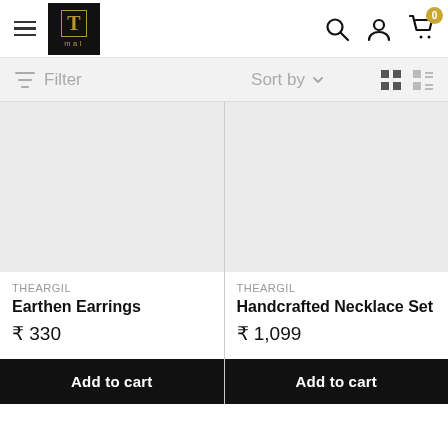TMALL store header with hamburger menu, logo, search, account, and cart (0 items)
Filter   Sort by   [grid view] [list view]
THEARGIL
Earthen Earrings
₹ 330
Add to cart
THEARGIL
Handcrafted Necklace Set
₹ 1,099
Add to cart